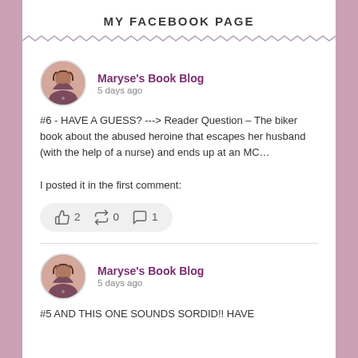MY FACEBOOK PAGE
[Figure (screenshot): Zigzag decorative divider line]
[Figure (photo): Avatar of Maryse, a woman with long brown hair]
Maryse's Book Blog
5 days ago
#6 - HAVE A GUESS? ---> Reader Question – The biker book about the abused heroine that escapes her husband (with the help of a nurse) and ends up at an MC…

I posted it in the first comment:
[Figure (infographic): Reaction bar showing thumbs up 2, share 0, comment 1]
[Figure (photo): Avatar of Maryse, a woman with long brown hair]
Maryse's Book Blog
5 days ago
#5 AND THIS ONE SOUNDS SORDID!! HAVE